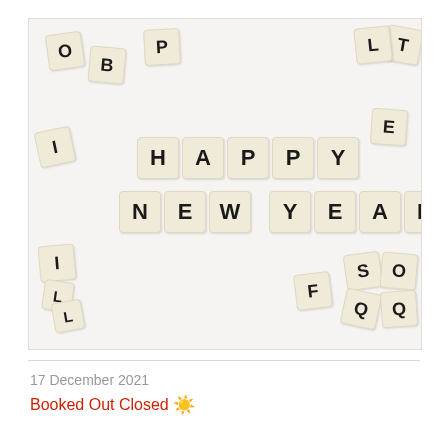[Figure (photo): Photo of scrabble letter tiles arranged on a white background spelling out HAPPY NEW YEAR in the center, with scattered random letter tiles (O, B, P, I, E, I, L, S, Q, F, Q, O, L) around the edges.]
17 December 2021
Booked Out Closed ☀️